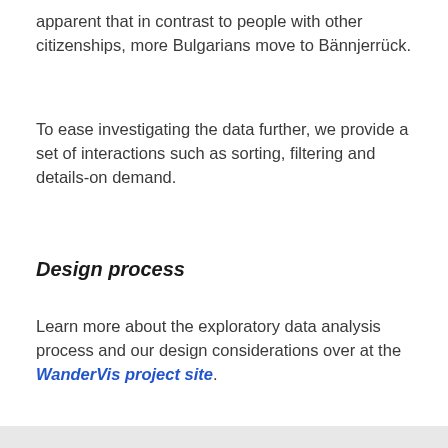apparent that in contrast to people with other citizenships, more Bulgarians move to Bännjerrück.
To ease investigating the data further, we provide a set of interactions such as sorting, filtering and details-on demand.
Design process
Learn more about the exploratory data analysis process and our design considerations over at the WanderVis project site.